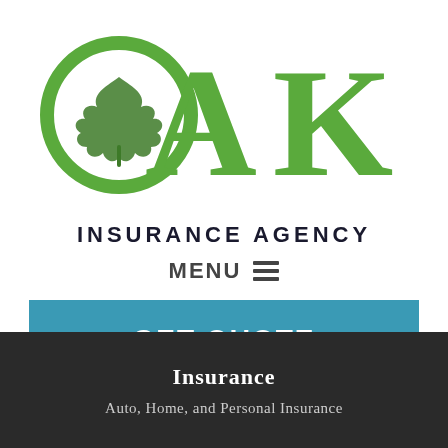[Figure (logo): Oak Insurance Agency logo with green OAK lettering, the O containing an oak leaf, and INSURANCE AGENCY text below]
MENU ≡
GET QUOTE
Insurance
Auto, Home, and Personal Insurance